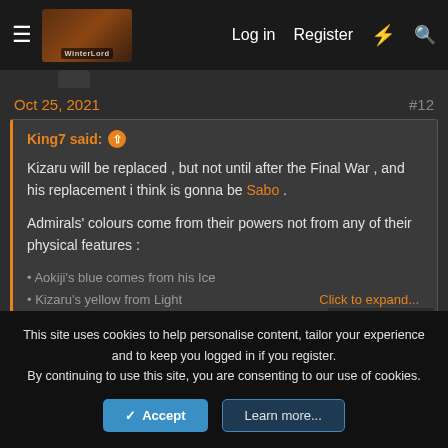Log in  Register
Oct 25, 2021  #12
King7 said:
Kizaru will be replaced , but not until after the Final War , and his replacement i think is gonna be Sabo .
Admirals' colours come from their powers not from any of their physical features :
• Aokiji's blue comes from his Ice
• Kizaru's yellow from Light...
Click to expand...
[Figure (illustration): Silhouette of an anime character (dark figure with white coat/cloak)]
This site uses cookies to help personalise content, tailor your experience and to keep you logged in if you register.
By continuing to use this site, you are consenting to our use of cookies.
Accept  Learn more...